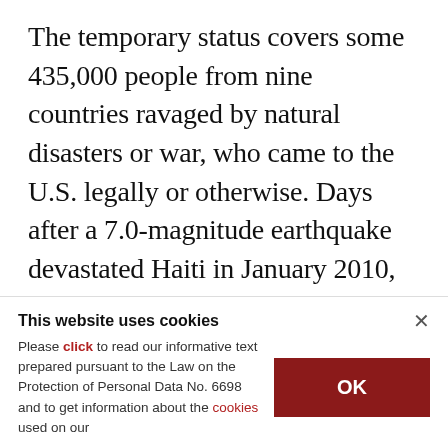The temporary status covers some 435,000 people from nine countries ravaged by natural disasters or war, who came to the U.S. legally or otherwise. Days after a 7.0-magnitude earthquake devastated Haiti in January 2010, President Barack Obama granted the 18-month protection status for Haitians in America who would otherwise have had to go home. Obama renewed it every time it ran out.
[blurred/partially visible line]
This website uses cookies
Please click to read our informative text prepared pursuant to the Law on the Protection of Personal Data No. 6698 and to get information about the cookies used on our